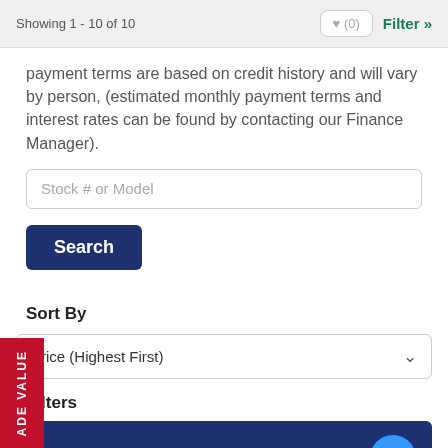Showing 1 - 10 of 10
payment terms are based on credit history and will vary by person, (estimated monthly payment terms and interest rates can be found by contacting our Finance Manager).
Stock # or Model
Search
Sort By
Price (Highest First)
Filters
Weight
Sleeps